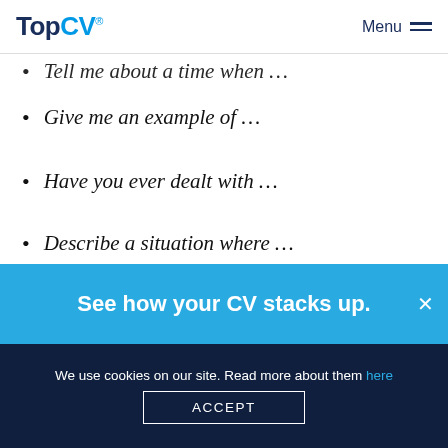TopCV® Menu
Tell me about a time when …
Give me an example of …
Have you ever dealt with …
Describe a situation where …
When have you used …
Any question that starts with these – or similar – phrases is an invitation for you to share about your
See how your CV stacks up.
We use cookies on our site. Read more about them here
ACCEPT